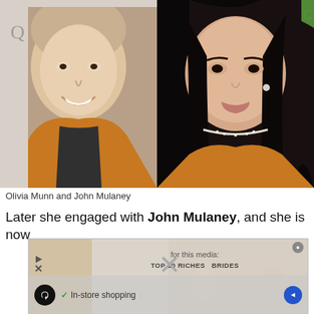[Figure (photo): Side-by-side headshots of John Mulaney (left, wearing mustard/orange jacket over dark shirt, smiling) and Olivia Munn (right, wearing similar mustard jacket, with long dark hair and diamond choker necklace)]
Olivia Munn and John Mulaney
Later she engaged with John Mulaney, and she is now
[Figure (screenshot): Advertisement overlay showing loop/infinity icon, checkmark with 'In-store shopping' text, navigation arrow icon, and partially visible 'TOP 10 RICHES BRIDES' image in background with X close button]